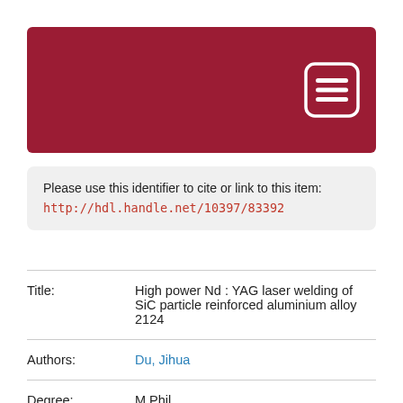[Figure (logo): Dark red/crimson banner header with a white rounded-rectangle menu/hamburger icon on the right side]
Please use this identifier to cite or link to this item:
http://hdl.handle.net/10397/83392
| Title: | High power Nd : YAG laser welding of SiC particle reinforced aluminium alloy 2124 |
| Authors: | Du, Jihua |
| Degree: | M.Phil. |
| Issue Date: | 1998 |